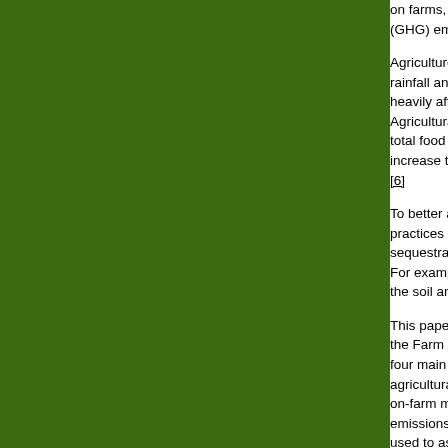on farms, forests, a… (GHG) emission re…
Agriculture is vulne… rainfall and pest mi… heavily affected by… Agricultural practic… total food system e… increase the agricu… [6]
To better align thei… practices that enha… sequestration. Mar… For example, farme… the soil and in woo…
This paper propose… the Farm Bill to imp… four main sections.… agricultural system… on-farm mitigation… emissions and buil… used to assess pot… incorporated aro…